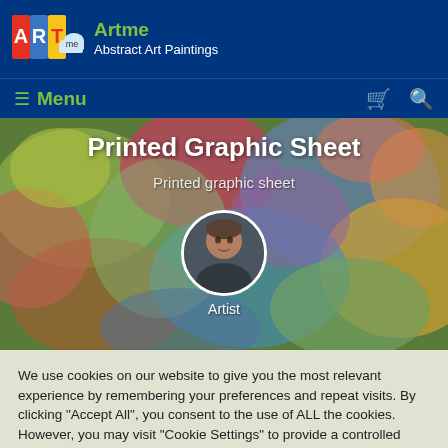Artme — Abstract Art Paintings
[Figure (logo): Artme logo with colorful letters A, R, T and cloud with 'me']
Printed Graphic Sheet
Printed graphic sheet
[Figure (photo): Artist portrait in circular frame over abstract art painting background]
Artist
We use cookies on our website to give you the most relevant experience by remembering your preferences and repeat visits. By clicking "Accept All", you consent to the use of ALL the cookies. However, you may visit "Cookie Settings" to provide a controlled consent.